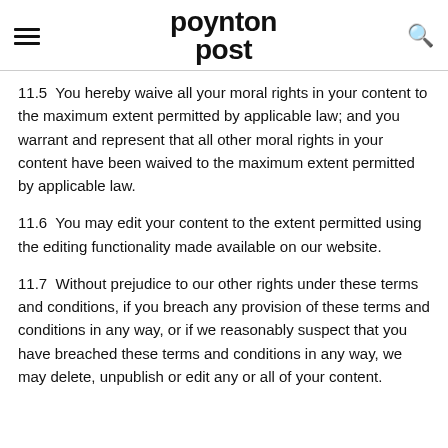poynton post
11.5  You hereby waive all your moral rights in your content to the maximum extent permitted by applicable law; and you warrant and represent that all other moral rights in your content have been waived to the maximum extent permitted by applicable law.
11.6  You may edit your content to the extent permitted using the editing functionality made available on our website.
11.7  Without prejudice to our other rights under these terms and conditions, if you breach any provision of these terms and conditions in any way, or if we reasonably suspect that you have breached these terms and conditions in any way, we may delete, unpublish or edit any or all of your content.